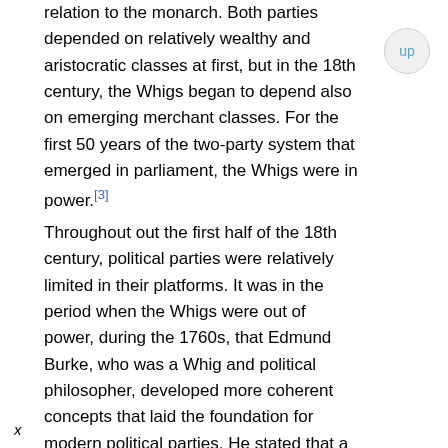relation to the monarch. Both parties depended on relatively wealthy and aristocratic classes at first, but in the 18th century, the Whigs began to depend also on emerging merchant classes. For the first 50 years of the two-party system that emerged in parliament, the Whigs were in power.[3]
Throughout out the first half of the 18th century, political parties were relatively limited in their platforms. It was in the period when the Whigs were out of power, during the 1760s, that Edmund Burke, who was a Whig and political philosopher, developed more coherent concepts that laid the foundation for modern political parties. He stated that a political party represented "joint endeavours (in regarding) the national interest, upon some particular principle in which they are all agreed." This
x